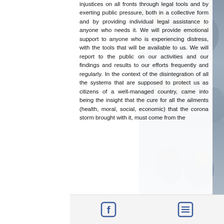injustices on all fronts through legal tools and by exerting public pressure, both in a collective form and by providing individual legal assistance to anyone who needs it. We will provide emotional support to anyone who is experiencing distress, with the tools that will be available to us. We will report to the public on our activities and our findings and results to our efforts frequently and regularly. In the context of the disintegration of all the systems that are supposed to protect us as citizens of a well-managed country, came into being the insight that the cure for all the ailments (health, moral, social, economic) that the corona storm brought with it, must come from the
[Figure (photo): Photo collage of diverse group of people, appearing happy and engaged, in a blue-grey toned background on the right side of the page]
Facebook icon | List/menu icon